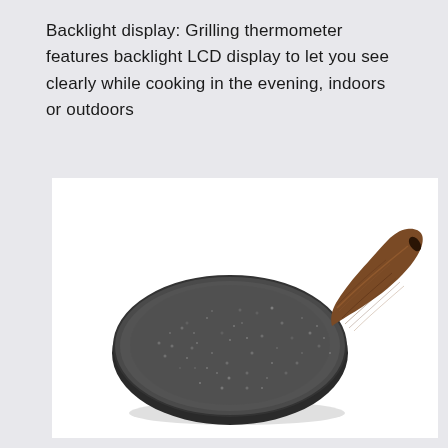Backlight display: Grilling thermometer features backlight LCD display to let you see clearly while cooking in the evening, indoors or outdoors
[Figure (photo): A flat round non-stick cooking pan (crepe pan) with a dark grey granite/stone-textured surface and a wooden-grain brown handle, photographed on a white background at a slight angle.]